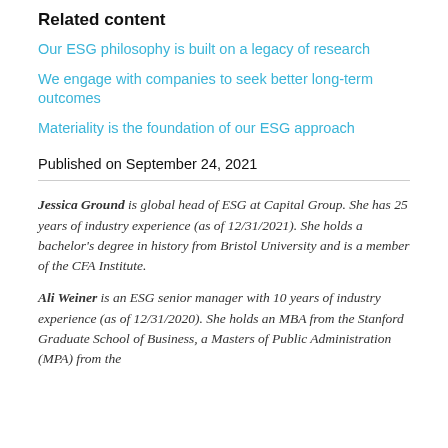Related content
Our ESG philosophy is built on a legacy of research
We engage with companies to seek better long-term outcomes
Materiality is the foundation of our ESG approach
Published on September 24, 2021
Jessica Ground is global head of ESG at Capital Group. She has 25 years of industry experience (as of 12/31/2021). She holds a bachelor's degree in history from Bristol University and is a member of the CFA Institute.
Ali Weiner is an ESG senior manager with 10 years of industry experience (as of 12/31/2020). She holds an MBA from the Stanford Graduate School of Business, a Masters of Public Administration (MPA) from the